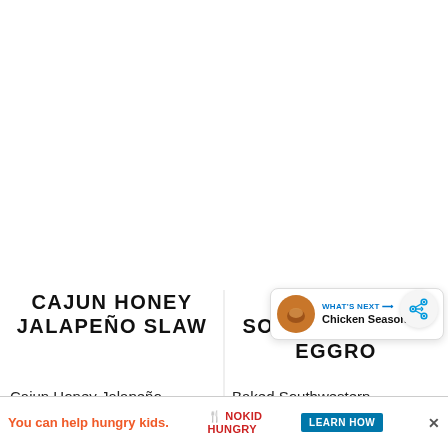CAJUN HONEY JALAPEÑO SLAW
BAKED SOUTHWESTERN EGGRO...
Cajun Honey Jalapeño
Baked Southwestern
You can help hungry kids. | NOKID HUNGRY | LEARN HOW